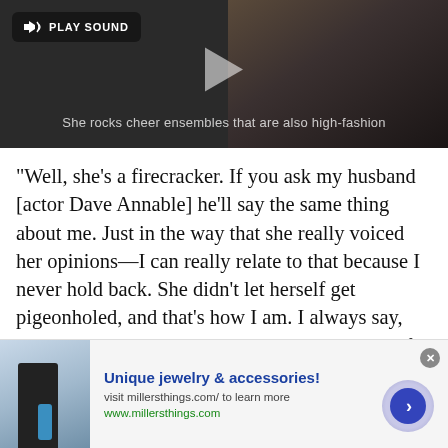[Figure (screenshot): Video player screenshot showing a woman's face in dark/blurred background with 'PLAY SOUND' button in top left and a video play triangle in center. Subtitle text reads: She rocks cheer ensembles that are also high-fashion]
"Well, she's a firecracker. If you ask my husband [actor Dave Annable] he'll say the same thing about me. Just in the way that she really voiced her opinions—I can really relate to that because I never hold back. She didn't let herself get pigeonholed, and that's how I am. I always say, you know, 'Why not me?'—it's taken me pretty far in this career. You see some of these other people going
[Figure (screenshot): Advertisement banner: Unique jewelry & accessories! visit millersthings.com/ to learn more www.millersthings.com — with a close X button and a blue arrow button on the right, and a small product image on the left.]